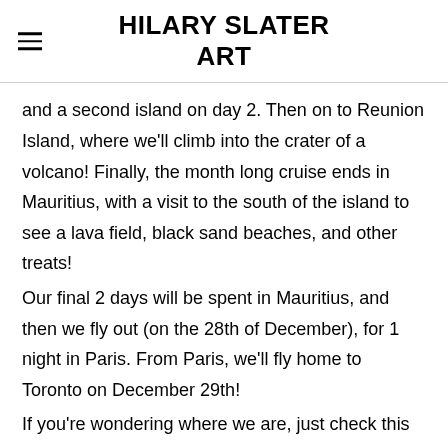HILARY SLATER ART
and a second island on day 2. Then on to Reunion Island, where we'll climb into the crater of a volcano! Finally, the month long cruise ends in Mauritius, with a visit to the south of the island to see a lava field, black sand beaches, and other treats!
Our final 2 days will be spent in Mauritius, and then we fly out (on the 28th of December), for 1 night in Paris. From Paris, we'll fly home to Toronto on December 29th!
If you're wondering where we are, just check this blog!
IF time and internet allow, I hope to be posting